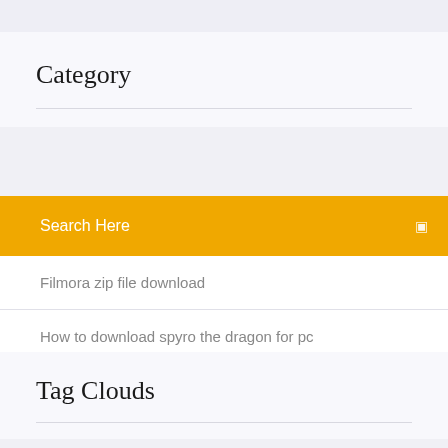Category
Search Here
Filmora zip file download
How to download spyro the dragon for pc
Tag Clouds